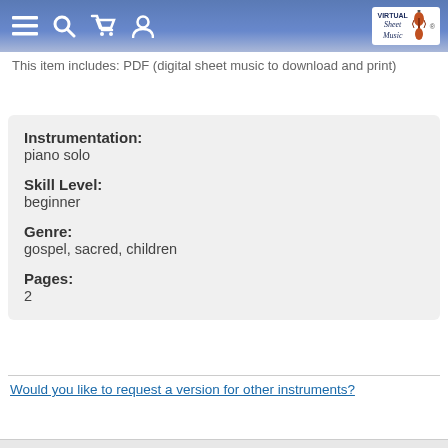Virtual Sheet Music navigation bar
This item includes: PDF (digital sheet music to download and print)
Instrumentation:
piano solo

Skill Level:
beginner

Genre:
gospel, sacred, children

Pages:
2
Would you like to request a version for other instruments?